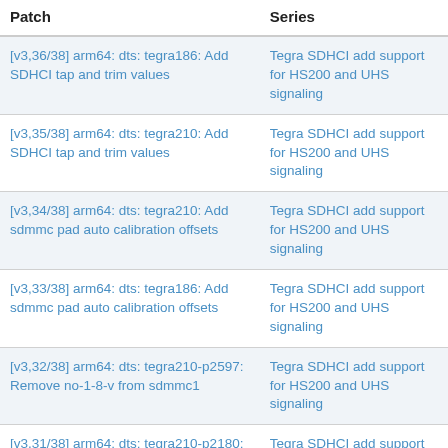| Patch | Series |
| --- | --- |
| [v3,36/38] arm64: dts: tegra186: Add SDHCI tap and trim values | Tegra SDHCI add support for HS200 and UHS signaling |
| [v3,35/38] arm64: dts: tegra210: Add SDHCI tap and trim values | Tegra SDHCI add support for HS200 and UHS signaling |
| [v3,34/38] arm64: dts: tegra210: Add sdmmc pad auto calibration offsets | Tegra SDHCI add support for HS200 and UHS signaling |
| [v3,33/38] arm64: dts: tegra186: Add sdmmc pad auto calibration offsets | Tegra SDHCI add support for HS200 and UHS signaling |
| [v3,32/38] arm64: dts: tegra210-p2597: Remove no-1-8-v from sdmmc1 | Tegra SDHCI add support for HS200 and UHS signaling |
| [v3,31/38] arm64: dts: tegra210-p2180: Correct sdmmc4 vqmmc-supply | Tegra SDHCI add support for HS200 and UHS signaling |
| [v3,30/38] arm64: dts: tegra210-p2180: | Tegra SDHCI add supp... |